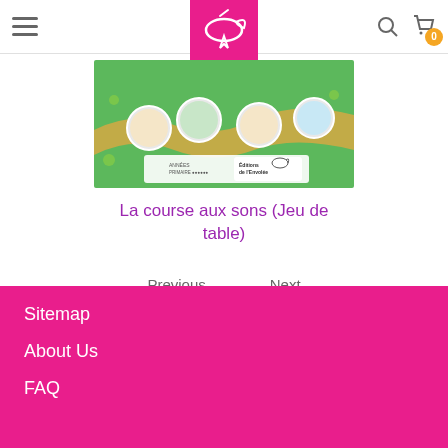Navigation header with hamburger menu, logo, search and cart icons
[Figure (photo): Product image showing a green board game box 'La course aux sons' with cartoon character tokens/buttons and Éditions de l'Envolée branding]
La course aux sons (Jeu de table)
Previous   Next
Sitemap
About Us
FAQ